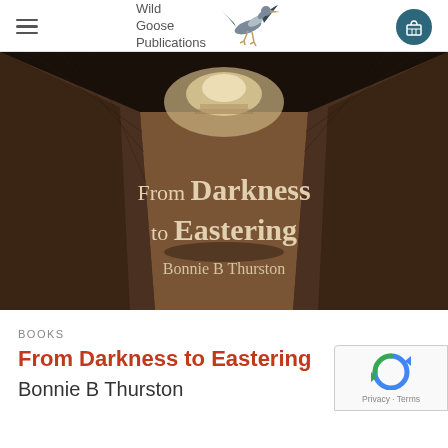Wild Goose Publications
[Figure (photo): Book cover of 'From Darkness to Eastering' by Bonnie B Thurston — a dark sepia-toned photograph of a narrow stone corridor or passageway with light at the far end, with title and author text overlaid in cream/white serif font.]
BOOKS
From Darkness to Eastering
Bonnie B Thurston